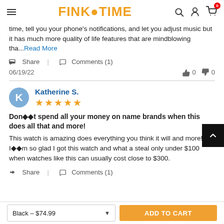FINK TIME
time, tell you your phone's notifications, and let you adjust music but it has much more quality of life features that are mindblowing tha... Read More
Share | Comments (1)
06/19/22  👍 0  👎 0
Katherine S. ★★★★★
Don��t spend all your money on name brands when this does all that and more!
This watch is amazing does everything you think it will and more! I��m so glad I got this watch and what a steal only under $100 when watches like this can usually cost close to $300.
Share | Comments (1)
Black - $74.99   ADD TO CART